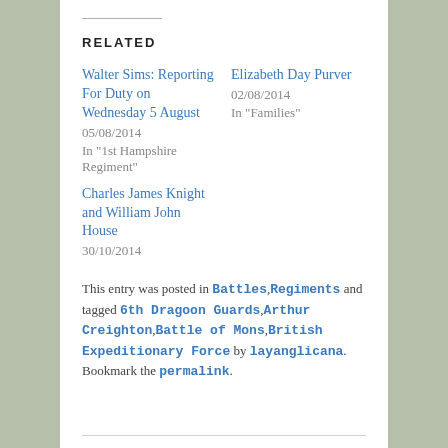RELATED
Walter Sims: Reporting For Duty on Wednesday 5 August
05/08/2014
In "1st Hampshire Regiment"
Elizabeth Day Purver
02/08/2014
In "Families"
Charles James Knight and William John House
30/10/2014
This entry was posted in Battles, Regiments and tagged 6th Dragoon Guards, Arthur Creighton, Battle of Mons, British Expeditionary Force by layanglicana. Bookmark the permalink.